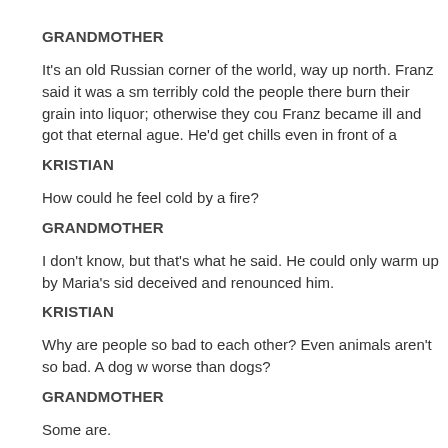GRANDMOTHER
It's an old Russian corner of the world, way up north. Franz said it was a sm terribly cold the people there burn their grain into liquor; otherwise they cou Franz became ill and got that eternal ague. He'd get chills even in front of a
KRISTIAN
How could he feel cold by a fire?
GRANDMOTHER
I don't know, but that's what he said. He could only warm up by Maria's sid deceived and renounced him.
KRISTIAN
Why are people so bad to each other? Even animals aren't so bad. A dog w worse than dogs?
GRANDMOTHER
Some are.